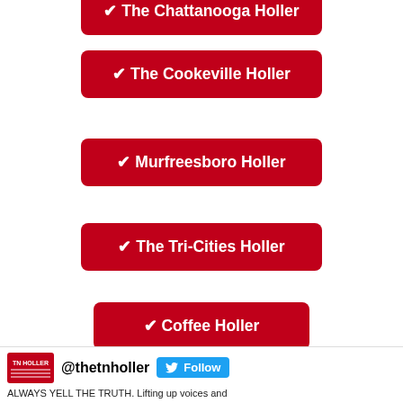✔ The Chattanooga Holler
✔ The Cookeville Holler
✔ Murfreesboro Holler
✔ The Tri-Cities Holler
✔ Coffee Holler
✔ Springfield Holler
✔ Clarksville Holler
@thetnholler  Follow  ALWAYS YELL THE TRUTH. Lifting up voices and